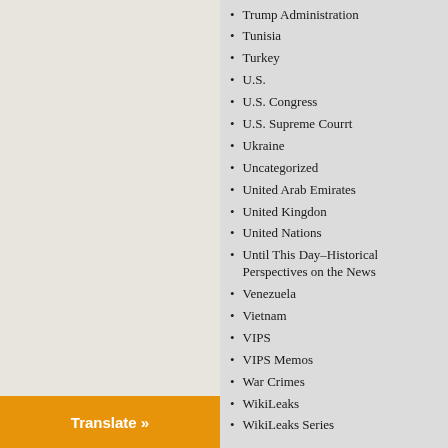Trump Administration
Tunisia
Turkey
U.S.
U.S. Congress
U.S. Supreme Courrt
Ukraine
Uncategorized
United Arab Emirates
United Kingdon
United Nations
Until This Day–Historical Perspectives on the News
Venezuela
Vietnam
VIPS
VIPS Memos
War Crimes
WikiLeaks
WikiLeaks Series